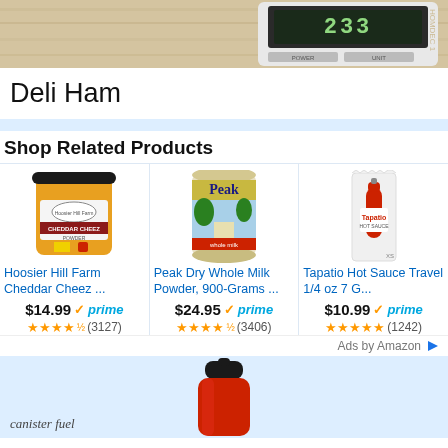[Figure (photo): Kitchen scale showing 233 on display, on wooden cutting board background]
Deli Ham
Shop Related Products
[Figure (photo): Hoosier Hill Farm Cheddar Cheez Powder jar with yellow/orange color]
Hoosier Hill Farm Cheddar Cheez ...
$14.99 prime (3127 reviews, 4.5 stars)
[Figure (photo): Peak Dry Whole Milk Powder 900-Gram can with tropical scene]
Peak Dry Whole Milk Powder, 900-Grams ...
$24.95 prime (3406 reviews, 4.5 stars)
[Figure (photo): Tapatio Hot Sauce Travel 1/4 oz packet]
Tapatio Hot Sauce Travel 1/4 oz 7 G...
$10.99 prime (1242 reviews, 5 stars)
Ads by Amazon
[Figure (photo): Red canister fuel bottle with black cap at bottom of page]